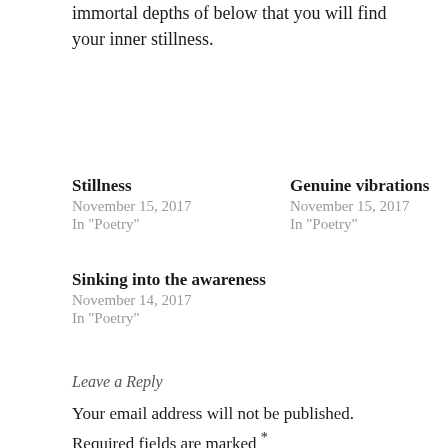immortal depths of below that you will find your inner stillness.
Stillness
November 15, 2017
In "Poetry"
Genuine vibrations
November 15, 2017
In "Poetry"
Sinking into the awareness
November 14, 2017
In "Poetry"
Leave a Reply
Your email address will not be published. Required fields are marked *